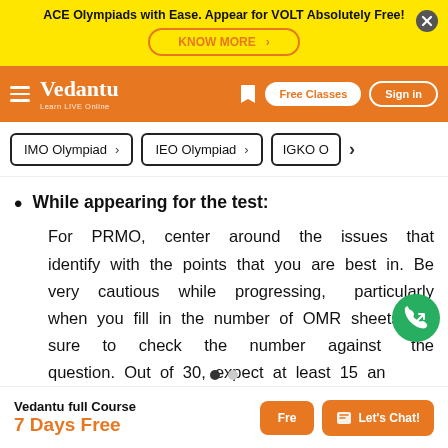ACE Olympiads with Ease. Appear for VOLT Absolutely Free!
[Figure (logo): Vedantu logo with tagline Learn LIVE Online on orange navigation bar with Free Classes and Sign in buttons]
IMO Olympiad
IEO Olympiad
IGKO O...
While appearing for the test:
For PRMO, center around the issues that identify with the points that you are best in. Be very cautious while progressing, particularly when you fill in the number of OMR sheets. Be sure to check the number against the question. Out of 30, expect at least 15 an...
Vedantu full Course
7 Days Free